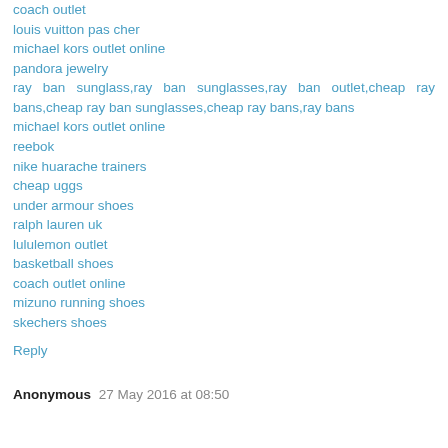coach outlet
louis vuitton pas cher
michael kors outlet online
pandora jewelry
ray ban sunglass,ray ban sunglasses,ray ban outlet,cheap ray bans,cheap ray ban sunglasses,cheap ray bans,ray bans
michael kors outlet online
reebok
nike huarache trainers
cheap uggs
under armour shoes
ralph lauren uk
lululemon outlet
basketball shoes
coach outlet online
mizuno running shoes
skechers shoes
Reply
Anonymous 27 May 2016 at 08:50